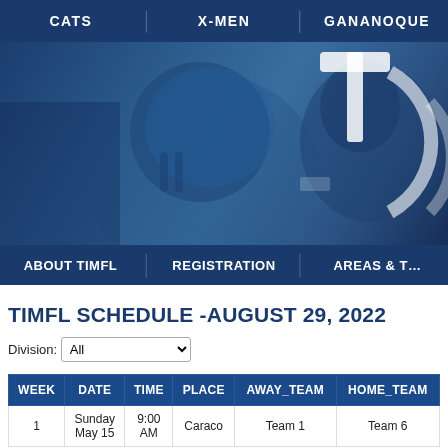CATS | X-MEN | GANANOQUE
[Figure (photo): Blue-tinted hero image of football players in helmets with a large white T logo/crest on the right side]
ABOUT TIMFL | REGISTRATION | AREAS &...
TIMFL SCHEDULE -AUGUST 29, 2022
Division: All
| WEEK | DATE | TIME | PLACE | AWAY_TEAM | HOME_TEAM |
| --- | --- | --- | --- | --- | --- |
| 1 | Sunday
May 15 | 9:00
AM | Caraco | Team 1 | Team 6 |